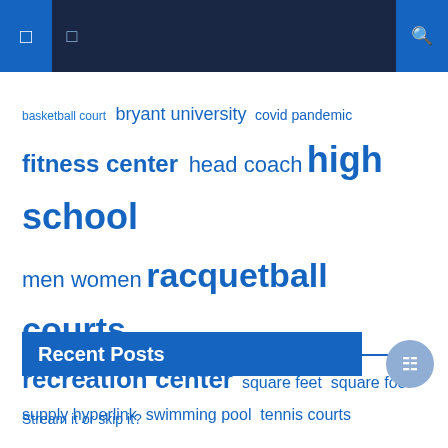Navigation bar with icons
[Figure (infographic): Tag cloud with terms of varying sizes in blue: basketball court, bryant university, covid pandemic, fitness center, head coach, high school, men women, racquetball courts, recreation center, square feet, square foot, supply hyperlink, swimming pool, tennis courts, united states]
Recent Posts
Stream it or skip it?